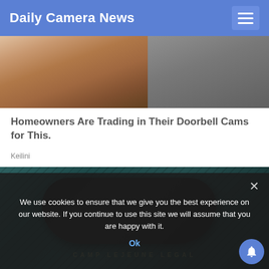Daily Camera News
[Figure (photo): Close-up photo of a hand holding a circular camera/doorbell device, with additional devices visible in the background on the right side.]
Homeowners Are Trading in Their Doorbell Cams for This.
Keilini
[Figure (photo): Close-up dark photo of what appears to be a dog tag or lens on a dark teal/green textured surface with a metal bead chain. Watermark text reads: CAMP LEJEUNE LEGAL]
We use cookies to ensure that we give you the best experience on our website. If you continue to use this site we will assume that you are happy with it.
Ok